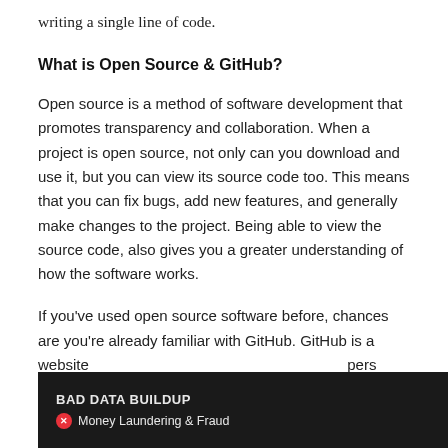writing a single line of code.
What is Open Source & GitHub?
Open source is a method of software development that promotes transparency and collaboration. When a project is open source, not only can you download and use it, but you can view its source code too. This means that you can fix bugs, add new features, and generally make changes to the project. Being able to view the source code, also gives you a greater understanding of how the software works.
If you've used open source software before, chances are you're already familiar with GitHub. GitHub is a website[…]pers can sto[…], but
[Figure (other): Advertisement banner for Melissa data services, showing 'BAD DATA BUILDUP' title, 'Money Laundering & Fraud' with a red circle X icon, Melissa logo, and 'Start Free Trial' button.]